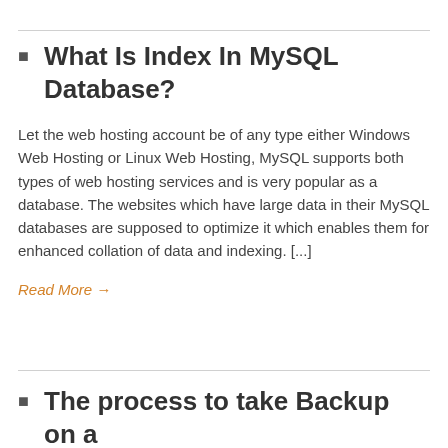What Is Index In MySQL Database?
Let the web hosting account be of any type either Windows Web Hosting or Linux Web Hosting, MySQL supports both types of web hosting services and is very popular as a database. The websites which have large data in their MySQL databases are supposed to optimize it which enables them for enhanced collation of data and indexing. [...]
Read More →
The process to take Backup on a